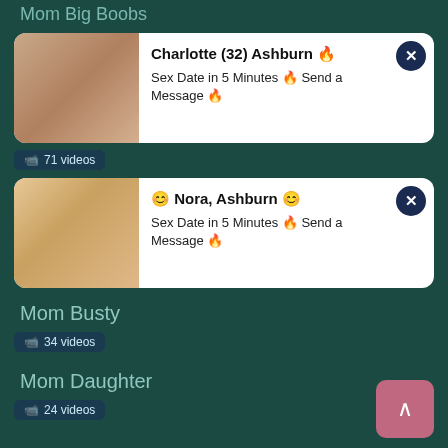Mom Big Boobs
[Figure (photo): Ad card 1 with photo of woman - Charlotte (32) Ashburn]
Charlotte (32) Ashburn 🔥
Sex Date in 5 Minutes 🔥 Send a Message 🔥
[Figure (photo): Ad card 2 with photo of blonde woman - Nora, Ashburn]
😊 Nora, Ashburn 😊
Sex Date in 5 Minutes 🔥 Send a Message 🔥
📹 71 videos
Mom Busty
📹 34 videos
Mom Daughter
📹 24 videos